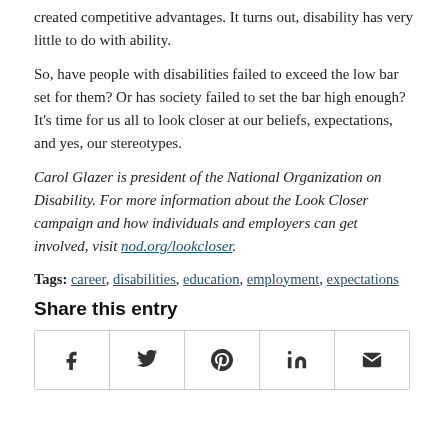created competitive advantages. It turns out, disability has very little to do with ability.
So, have people with disabilities failed to exceed the low bar set for them? Or has society failed to set the bar high enough? It’s time for us all to look closer at our beliefs, expectations, and yes, our stereotypes.
Carol Glazer is president of the National Organization on Disability. For more information about the Look Closer campaign and how individuals and employers can get involved, visit nod.org/lookcloser.
Tags: career, disabilities, education, employment, expectations
Share this entry
[Figure (infographic): Social share buttons row with icons for Facebook, Twitter, Pinterest, LinkedIn, and Email]